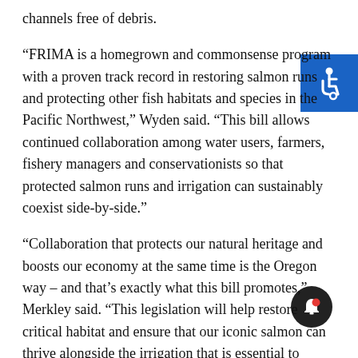channels free of debris.
“FRIMA is a homegrown and commonsense program with a proven track record in restoring salmon runs and protecting other fish habitats and species in the Pacific Northwest,” Wyden said. “This bill allows continued collaboration among water users, farmers, fishery managers and conservationists so that protected salmon runs and irrigation can sustainably coexist side-by-side.”
“Collaboration that protects our natural heritage and boosts our economy at the same time is the Oregon way – and that’s exactly what this bill promotes,” Merkley said. “This legislation will help restore critical habitat and ensure that our iconic salmon can thrive alongside the irrigation that is essential to Oregon ranchers and farmers.”
Since the program was first authorized in 2000, FRIMA has funded 127 projects that have re-opened more than 1,130 miles of habitat to fish passage. In total, 56 barriers to fish passage have been removed, and more than 1,000 miles of additional